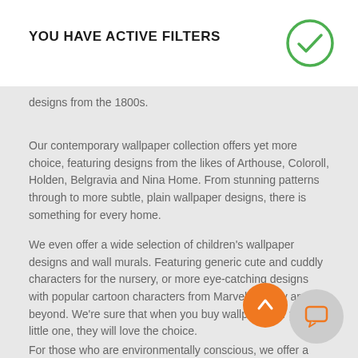YOU HAVE ACTIVE FILTERS
designs from the 1800s.
Our contemporary wallpaper collection offers yet more choice, featuring designs from the likes of Arthouse, Coloroll, Holden, Belgravia and Nina Home. From stunning patterns through to more subtle, plain wallpaper designs, there is something for every home.
We even offer a wide selection of children's wallpaper designs and wall murals. Featuring generic cute and cuddly characters for the nursery, or more eye-catching designs with popular cartoon characters from Marvel, Disney and beyond. We're sure that when you buy wallpaper for your little one, they will love the choice.
For those who are environmentally conscious, we offer a range of eco wallpaper specially made from either recycled materials or managed forests. Offering an equally amazing selection of co... and patterns, no one will be any the wiser that you... cted... green alternative.